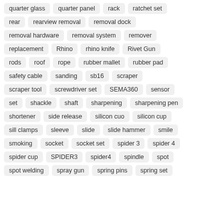quarter glass
quarter panel
rack
ratchet set
rear
rearview removal
removal dock
removal hardware
removal system
remover
replacement
Rhino
rhino knife
Rivet Gun
rods
roof
rope
rubber mallet
rubber pad
safety cable
sanding
sb16
scraper
scraper tool
screwdriver set
SEMA360
sensor
set
shackle
shaft
sharpening
sharpening pen
shortener
side release
silicon cuo
silicon cup
sill clamps
sleeve
slide
slide hammer
smile
smoking
socket
socket set
spider 3
spider 4
spider cup
SPIDER3
spider4
spindle
spot
spot welding
spray gun
spring pins
spring set